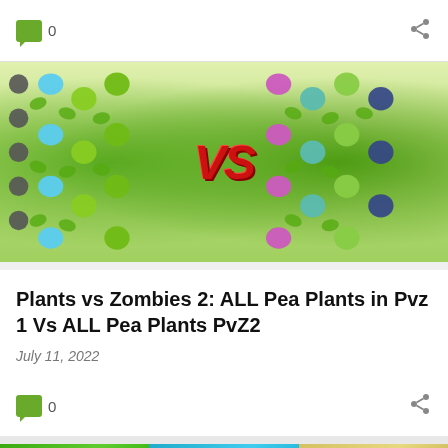[Figure (screenshot): Top bar with green comment icon, count 0, and share icon]
[Figure (screenshot): Plants vs Zombies 2 game screenshot showing ALL Pea Plants from PvZ1 versus ALL Pea Plants from PvZ2, with VS text in the center]
Plants vs Zombies 2: ALL Pea Plants in Pvz 1 Vs ALL Pea Plants PvZ2
July 11, 2022
[Figure (screenshot): Bottom bar with green comment icon, count 0, and share icon]
[Figure (screenshot): Partial image strip at bottom showing three sections: green, teal/blue, and yellow-gold colored images]